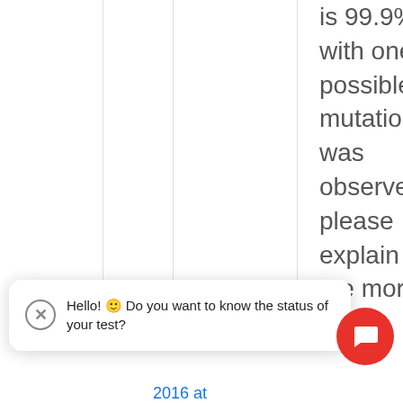is 99.9% with one possible mutation was observed please explain to me more.
Hello! 🙂 Do you want to know the status of your test?
2016 at